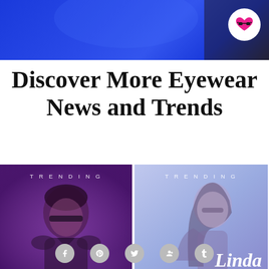[Figure (photo): Top banner with blue/dark background photo, featuring a logo circle with heart-sunglasses icon in top right corner]
Discover More Eyewear News and Trends
[Figure (photo): Two side-by-side trending image cards. Left card: purple-toned image of man wearing sunglasses with 'TRENDING' text. Right card: lavender/blue-toned image of woman with 'TRENDING' text and 'Linda' italic text overlay.]
Social media icons: Facebook, Pinterest, Twitter, Google+, Tumblr